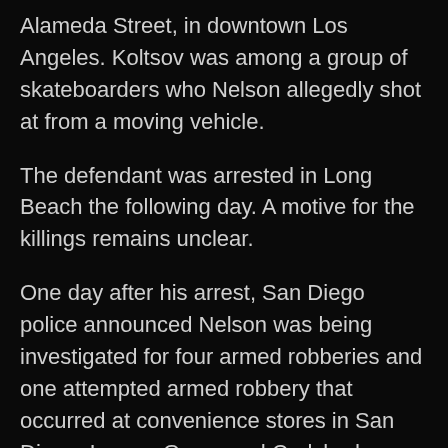Alameda Street, in downtown Los Angeles. Koltsov was among a group of skateboarders who Nelson allegedly shot at from a moving vehicle.
The defendant was arrested in Long Beach the following day. A motive for the killings remains unclear.
One day after his arrest, San Diego police announced Nelson was being investigated for four armed robberies and one attempted armed robbery that occurred at convenience stores in San Diego, Lemon Grove and Carlsbad between June 7-9, 2019.
The suspect allegedly made off with cash in four of the holdups and was armed with a handgun in each heist. The robberies occurred at 7-Eleven stores in Ocean Beach, the Midway District, City Heights, and Lemon Grove, as well as a Circle K store in Carlsbad, according to a...